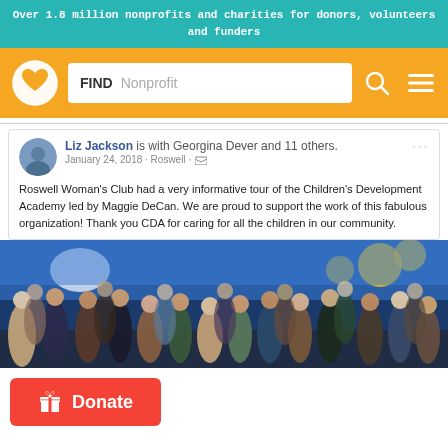Over 1.8 million nonprofits and charities for donors, volunteers and funders
[Figure (screenshot): Navigation bar with GreatNonprofits logo (heart icon), search box with FIND Nonprofit text, search icon and hamburger menu on orange background]
Liz Jackson is with Georgina Dever and 11 others.
January 24, 2018 · Roswell
Roswell Woman's Club had a very informative tour of the Children's Development Academy led by Maggie DeCan. We are proud to support the work of this fabulous organization! Thank you CDA for caring for all the children in our community.
[Figure (photo): Group photo of approximately 20 women standing together in front of a colorful mural with yellow and blue tones]
[Figure (other): Red Donate button with gift box icon]